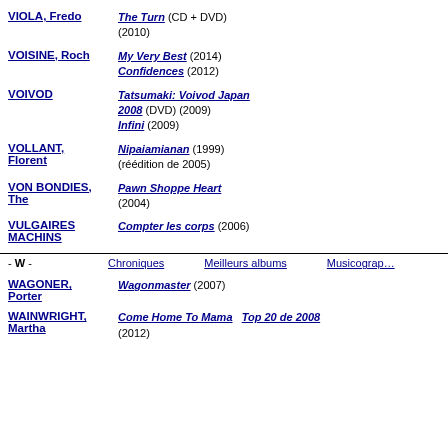VIOLA, Fredo — The Turn (CD + DVD) (2010)
VOISINE, Roch — My Very Best (2014); Confidences (2012)
VOIVOD — Tatsumaki: Voivod Japan 2008 (DVD) (2009); Infini (2009)
VOLLANT, Florent — Nipaiamianan (1999) (réédition de 2005)
VON BONDIES, The — Pawn Shoppe Heart (2004)
VULGAIRES MACHINS — Compter les corps (2006)
- W -   Chroniques   Meilleurs albums   Musicographie
WAGONER, Porter — Wagonmaster (2007)
WAINWRIGHT, Martha — Come Home To Mama   Top 20 de 2008   (2012)